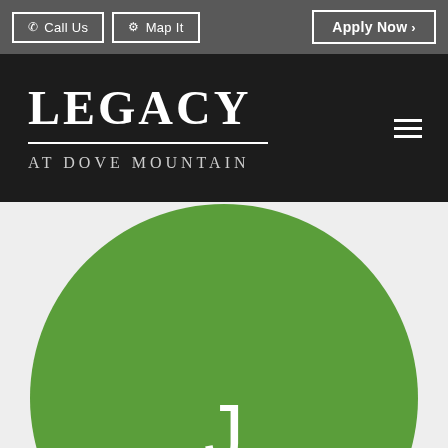Call Us  Map It  Apply Now >
Legacy at Dove Mountain
[Figure (illustration): Green circle with white letter J, avatar placeholder on a light gray background]